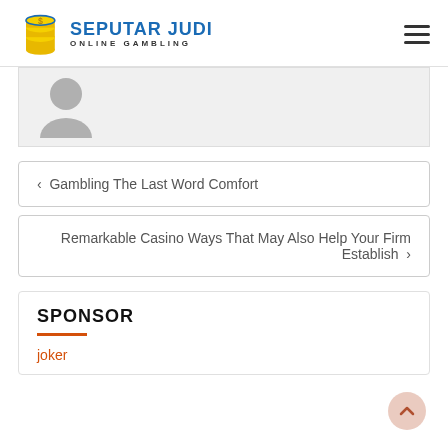SEPUTAR JUDI ONLINE GAMBLING
[Figure (photo): Grey placeholder avatar/profile image, partially cropped at top]
< Gambling The Last Word Comfort
Remarkable Casino Ways That May Also Help Your Firm Establish >
SPONSOR
joker